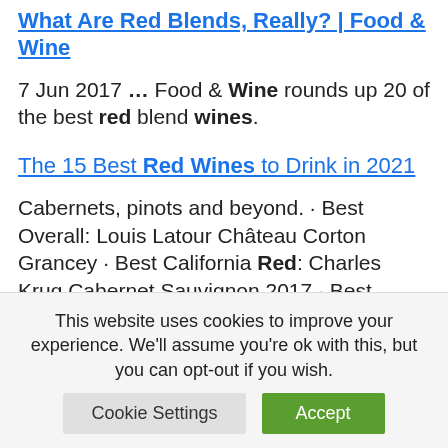What Are Red Blends, Really? | Food & Wine
7 Jun 2017 ... Food & Wine rounds up 20 of the best red blend wines.
The 15 Best Red Wines to Drink in 2021
Cabernets, pinots and beyond. · Best Overall: Louis Latour Château Corton Grancey · Best California Red: Charles Krug Cabernet Sauvignon 2017 · Best Organic:
This website uses cookies to improve your experience. We'll assume you're ok with this, but you can opt-out if you wish.